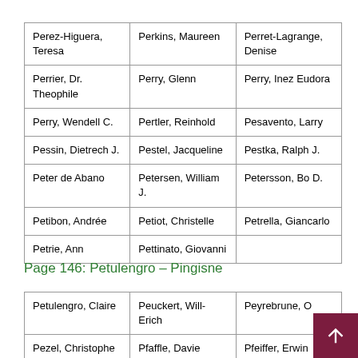| Perez-Higuera, Teresa | Perkins, Maureen | Perret-Lagrange, Denise |
| Perrier, Dr. Theophile | Perry, Glenn | Perry, Inez Eudora |
| Perry, Wendell C. | Pertler, Reinhold | Pesavento, Larry |
| Pessin, Dietrech J. | Pestel, Jacqueline | Pestka, Ralph J. |
| Peter de Abano | Petersen, William J. | Petersson, Bo D. |
| Petibon, Andrée | Petiot, Christelle | Petrella, Giancarlo |
| Petrie, Ann | Pettinato, Giovanni |  |
Page 146: Petulengro – Pingisne
| Petulengro, Claire | Peuckert, Will-Erich | Peyrebrune, O… |
| Pezel, Christophe | Pfaffle, Davie | Pfeiffer, Erwin |